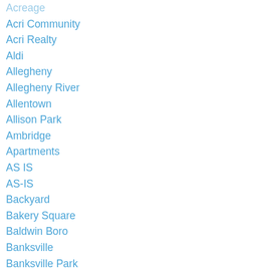Acreage
Acri Community
Acri Realty
Aldi
Allegheny
Allegheny River
Allentown
Allison Park
Ambridge
Apartments
AS IS
AS-IS
Backyard
Bakery Square
Baldwin Boro
Banksville
Banksville Park
Basement
Beechview
Beechwood Farms
Bell Acres